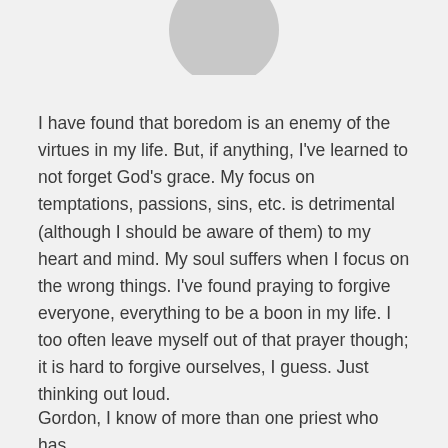[Figure (illustration): Generic user avatar icon — a gray circle with silhouette of a person, cropped at the top of the page]
I have found that boredom is an enemy of the virtues in my life. But, if anything, I've learned to not forget God's grace. My focus on temptations, passions, sins, etc. is detrimental (although I should be aware of them) to my heart and mind. My soul suffers when I focus on the wrong things. I've found praying to forgive everyone, everything to be a boon in my life. I too often leave myself out of that prayer though; it is hard to forgive ourselves, I guess. Just thinking out loud.
Gordon, I know of more than one priest who has